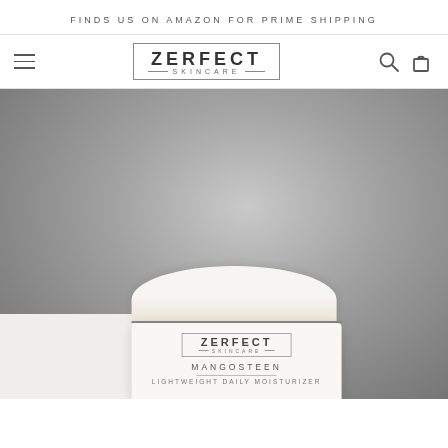FINDS US ON AMAZON FOR PRIME SHIPPING
[Figure (logo): Zerfect Skincare logo in rectangular border with brand name and 'SKINCARE' subtext]
[Figure (photo): Hero product photo showing a white Zerfect Skincare Mangosteen Lightweight Daily Moisturizer cream jar against a grey gradient background with white geometric surface underneath]